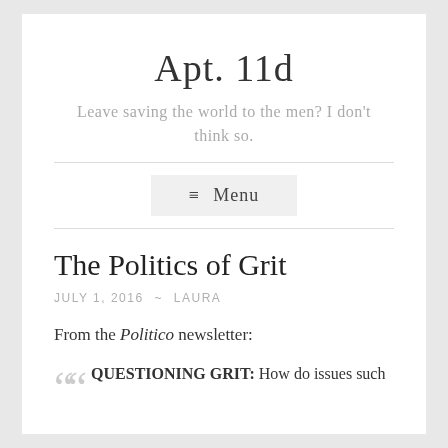Apt. 11d
Leave saving the world to the men? I don't think so.
≡ Menu
The Politics of Grit
JULY 1, 2016 ~ LAURA
From the Politico newsletter:
QUESTIONING GRIT: How do issues such